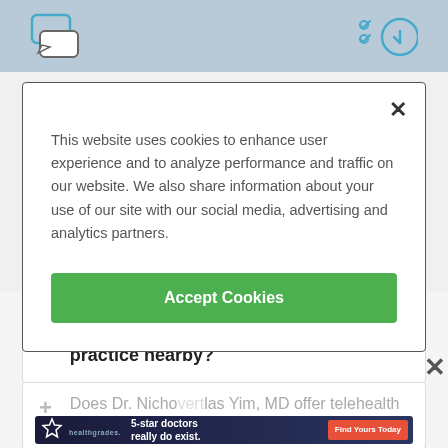[Figure (screenshot): Top banner with chat bubble icons and clock/checklist icons on teal background, partially visible]
This website uses cookies to enhance user experience and to analyze performance and traffic on our website. We also share information about your use of our site with our social media, advertising and analytics partners.
Accept Cookies
+ What other Family Medicine Specialists practice nearby?
+ Does Dr. Nicholas Yim, MD offer telehealth se...
[Figure (screenshot): Healthgrades advertisement: 5-star doctors really do exist. Find Yours Today]